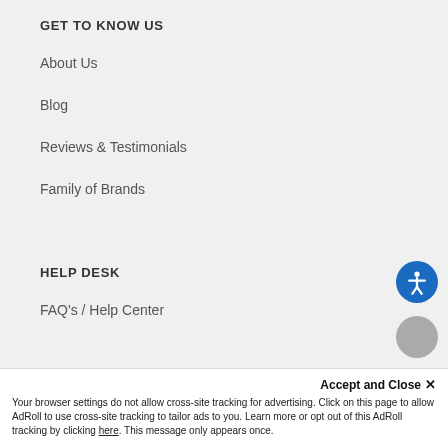GET TO KNOW US
About Us
Blog
Reviews & Testimonials
Family of Brands
HELP DESK
FAQ's / Help Center
Accept and Close ✕
Your browser settings do not allow cross-site tracking for advertising. Click on this page to allow AdRoll to use cross-site tracking to tailor ads to you. Learn more or opt out of this AdRoll tracking by clicking here. This message only appears once.